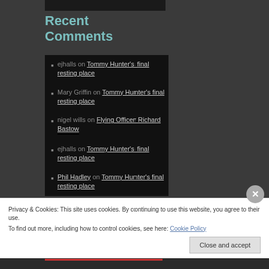[Figure (screenshot): Top dark image strip above the Recent Comments section]
Recent Comments
ejhalls on Tommy Hunter's final resting place
Mary Griffin on Tommy Hunter's final resting place
nigel wills on Flying Officer Richard Bastow
ejhalls on Tommy Hunter's final resting place
Phil Hadley on Tommy Hunter's final resting place
Privacy & Cookies: This site uses cookies. By continuing to use this website, you agree to their use.
To find out more, including how to control cookies, see here: Cookie Policy
Close and accept